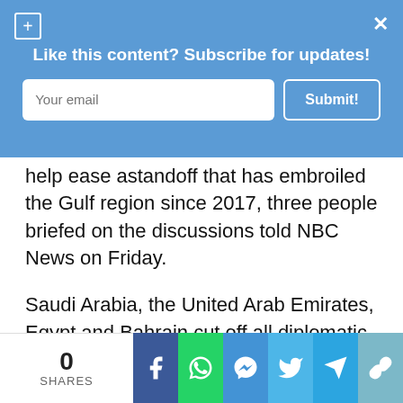Like this content? Subscribe for updates!
help ease astandoff that has embroiled the Gulf region since 2017, three people briefed on the discussions told NBC News on Friday.
Saudi Arabia, the United Arab Emirates, Egypt and Bahrain cut off all diplomatic ties to Qatar three years ago and began a blockade against their former ally, accusing Doha of supporting terrorism. Qatar denies
0 SHARES